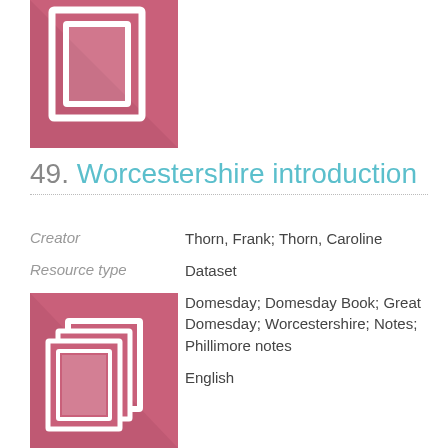[Figure (illustration): Pink/mauve square icon with white document/book outline inside, shadow effect]
49. Worcestershire introduction
Creator	Thorn, Frank; Thorn, Caroline
Resource type	Dataset
Subject	Domesday; Domesday Book; Great Domesday; Worcestershire; Notes; Phillimore notes
Language	English
[Figure (illustration): Pink/mauve square icon with white layered document/pages outline inside, shadow effect]